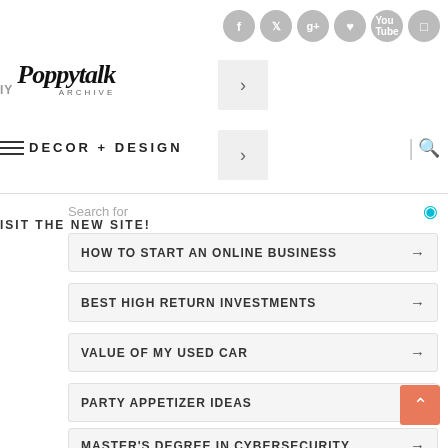[Figure (other): Social media icon buttons: Facebook, Twitter, Google+, Pinterest, YouTube, Instagram — grey circles with white icons]
[Figure (logo): Poppytalk Archive logo with DIY text to the left]
[Figure (other): Navigation arrow button (chevron right) in light grey box]
DECOR + DESIGN
[Figure (other): Navigation arrow button (chevron right) in light grey box, search icon and pipe]
Search for
VISIT THE NEW SITE!
HOW TO START AN ONLINE BUSINESS →
BEST HIGH RETURN INVESTMENTS →
VALUE OF MY USED CAR →
PARTY APPETIZER IDEAS →
MASTER'S DEGREE IN CYBERSECURITY →